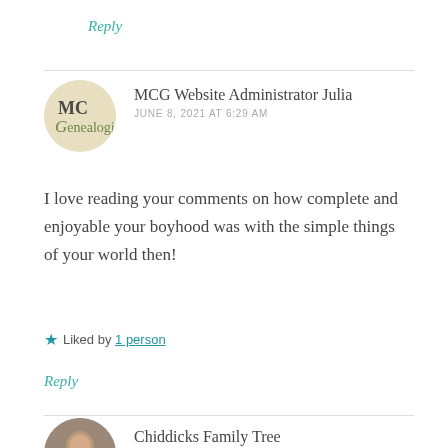Reply
MCG Website Administrator Julia
JUNE 8, 2021 AT 6:29 AM
I love reading your comments on how complete and enjoyable your boyhood was with the simple things of your world then!
Liked by 1 person
Reply
Chiddicks Family Tree